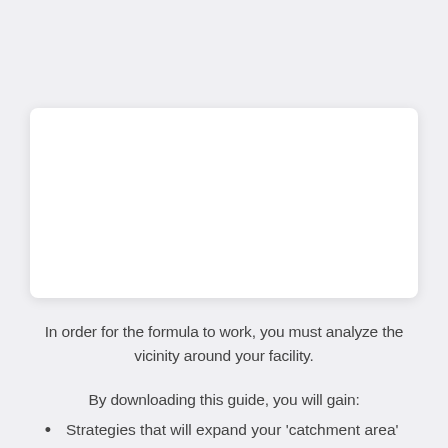[Figure (other): White rounded card/placeholder box on light gray background]
In order for the formula to work, you must analyze the vicinity around your facility.
By downloading this guide, you will gain:
Strategies that will expand your 'catchment area'